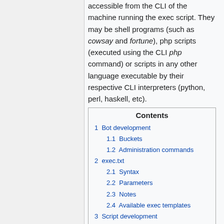accessible from the CLI of the machine running the exec script. They may be shell programs (such as cowsay and fortune), php scripts (executed using the CLI php command) or scripts in any other language executable by their respective CLI interpreters (python, perl, haskell, etc).
| Contents |
| --- |
| 1  Bot development |
| 1.1  Buckets |
| 1.2  Administration commands |
| 2  exec.txt |
| 2.1  Syntax |
| 2.2  Parameters |
| 2.3  Notes |
| 2.4  Available exec templates |
| 3  Script development |
| 3.1  PHP script template |
| 4  Usage in IRC |